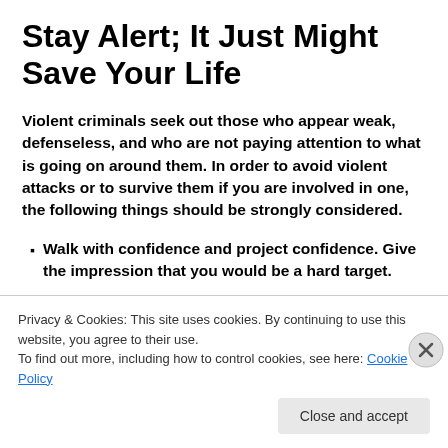Stay Alert; It Just Might Save Your Life
Violent criminals seek out those who appear weak, defenseless, and who are not paying attention to what is going on around them.  In order to avoid violent attacks or to survive them if you are involved in one, the following things should be strongly considered.
Walk with confidence and project confidence.  Give the impression that you would be a hard target.
Privacy & Cookies: This site uses cookies. By continuing to use this website, you agree to their use.
To find out more, including how to control cookies, see here: Cookie Policy